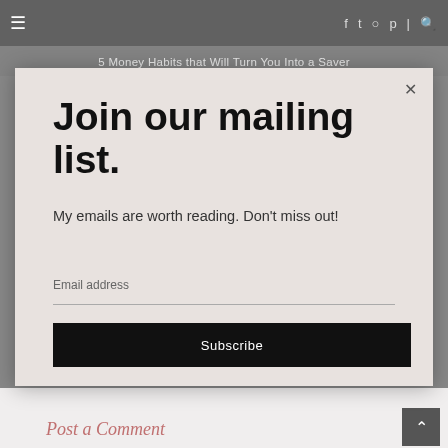≡  f  t  ○  p  |  🔍
5 Money Habits that Will Turn You Into a Saver
Join our mailing list.
My emails are worth reading. Don't miss out!
Email address
Subscribe
Post a Comment